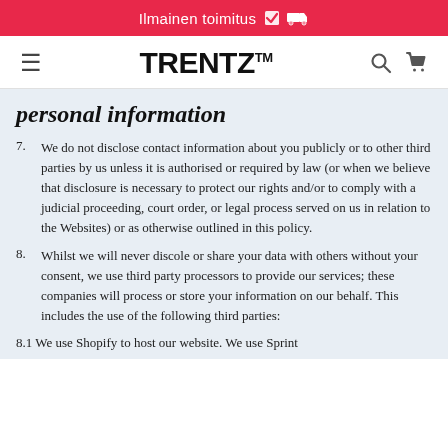Ilmainen toimitus
[Figure (logo): TRENTZ logo with TM superscript, hamburger menu icon, search icon, cart icon]
personal information
7. We do not disclose contact information about you publicly or to other third parties by us unless it is authorised or required by law (or when we believe that disclosure is necessary to protect our rights and/or to comply with a judicial proceeding, court order, or legal process served on us in relation to the Websites) or as otherwise outlined in this policy.
8. Whilst we will never discole or share your data with others without your consent, we use third party processors to provide our services; these companies will process or store your information on our behalf. This includes the use of the following third parties:
8.1 We use Shopify to host our website. We use Sprint